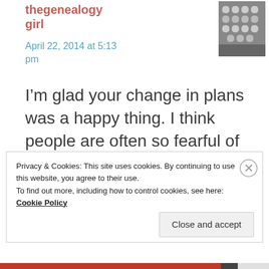thegenealogygirl
April 22, 2014 at 5:13 pm
[Figure (photo): Avatar image of typewriter keys, black and white photo]
I’m glad your change in plans was a happy thing. I think people are often so fearful of change that they spend a lot of time being less happy than they could be.
Privacy & Cookies: This site uses cookies. By continuing to use this website, you agree to their use.
To find out more, including how to control cookies, see here: Cookie Policy
Close and accept